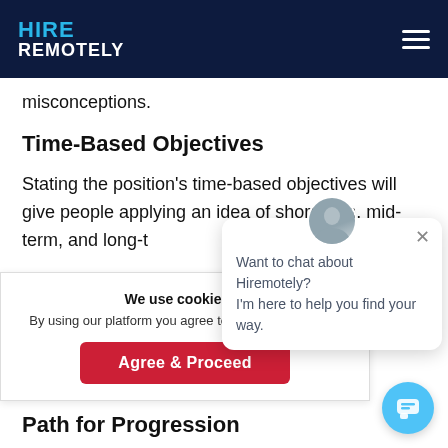HIRE REMOTELY
misconceptions.
Time-Based Objectives
Stating the position's time-based objectives will give people applying an idea of short term, mid-term, and long-t…
We use cookies in
By using our platform you agree to our use of cookies.
Agree & Proceed
Want to chat about Hiremotely? I'm here to help you find your way.
Path for Progression